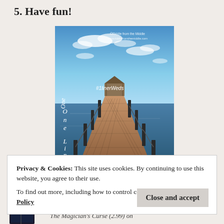5. Have fun!
[Figure (photo): Photo of a wooden pier/dock extending out over calm blue water toward a covered gazebo structure at the end. Blue sky with scattered clouds above. Text overlay on left side reads 'One Liner Wednesday' vertically. Text overlay reads '#1linerWeds'. Watermark in top right: '©Riddle from the Middle / www.riddlefromthemiddle.com']
Privacy & Cookies: This site uses cookies. By continuing to use this website, you agree to their use.
To find out more, including how to control cookies, see here: Cookie Policy
Close and accept
The Magician's Curse (2.99) on